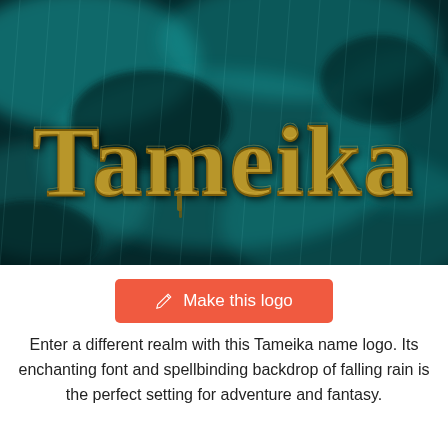[Figure (illustration): Fantasy-style logo image showing the name 'Tameika' in large golden gothic/dripping font against a dark teal stormy background with falling rain effect]
Make this logo
Enter a different realm with this Tameika name logo. Its enchanting font and spellbinding backdrop of falling rain is the perfect setting for adventure and fantasy.